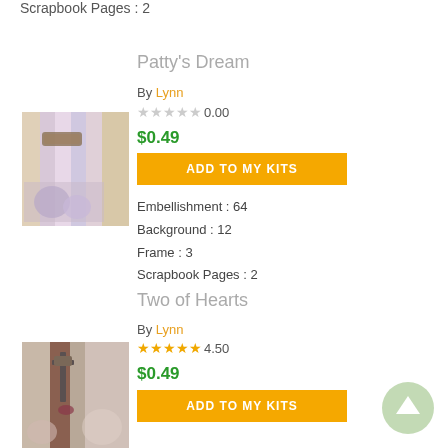Scrapbook Pages : 2
Patty's Dream
By Lynn
0.00
$0.49
ADD TO MY KITS
Embellishment : 64
Background : 12
Frame : 3
Scrapbook Pages : 2
[Figure (photo): Product thumbnail for Patty's Dream scrapbook kit showing pastel colored papers and floral embellishments]
Two of Hearts
By Lynn
4.50
$0.49
ADD TO MY KITS
[Figure (photo): Product thumbnail for Two of Hearts scrapbook kit showing romantic themed elements with hearts and vintage style]
[Figure (other): Scroll to top button - green circle with upward arrow]